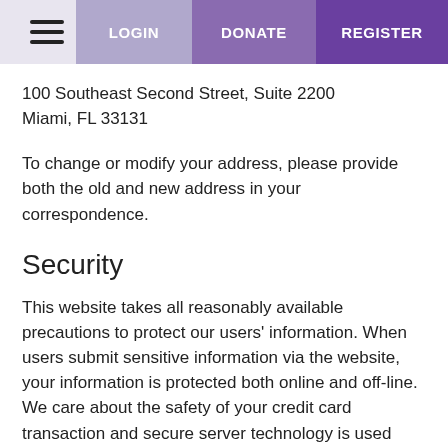LOGIN  DONATE  REGISTER
100 Southeast Second Street, Suite 2200
Miami, FL 33131
To change or modify your address, please provide both the old and new address in your correspondence.
Security
This website takes all reasonably available precautions to protect our users' information. When users submit sensitive information via the website, your information is protected both online and off-line. We care about the safety of your credit card transaction and secure server technology is used throughout the online donation process. We use high-grade encryption software and the https